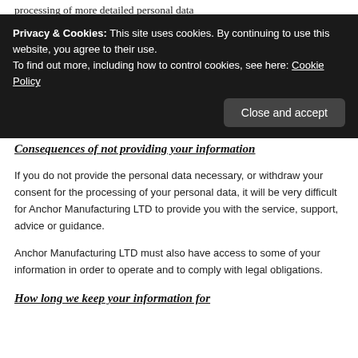processing of more detailed personal data
Privacy & Cookies: This site uses cookies. By continuing to use this website, you agree to their use.
To find out more, including how to control cookies, see here: Cookie Policy
Close and accept
Consequences of not providing your information
If you do not provide the personal data necessary, or withdraw your consent for the processing of your personal data, it will be very difficult for Anchor Manufacturing LTD to provide you with the service, support, advice or guidance.
Anchor Manufacturing LTD must also have access to some of your information in order to operate and to comply with legal obligations.
How long we keep your information for